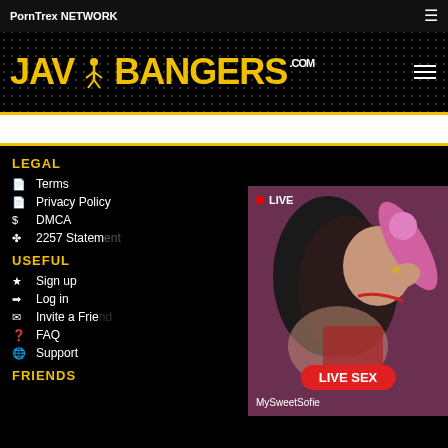PornTrex NETWORK
[Figure (logo): JAV Bangers .com logo in yellow on black background with dotted pattern]
LEGAL
Terms
Privacy Policy
DMCA
2257 Statement
USEFUL
Sign up
Log in
Invite a Friend
FAQ
Support
FRIENDS
[Figure (screenshot): Live cam popup showing woman with pink toy, LIVE badge, MySweetSofie username, and LIVE SEX button]